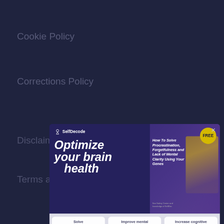Cookie Policy
Corrections Policy
Disclaimer
Terms and Conditions
Privacy Policy
Login
Contact Us
support@selfdecode.com
[Figure (screenshot): SelfDecode popup modal with purple background. Left side shows 'SelfDecode' logo and text 'Optimize your brain health' in large italic white bold font. Right side shows a book cover for 'How To Solve Procrastination, Forgetfulness and Lack of Mental Clarity Using Your Genes' with a FREE badge. Bottom shows three cards: 'Solve procrastination', 'Improve mental clarity', 'Increase cognitive function' each with an icon.]